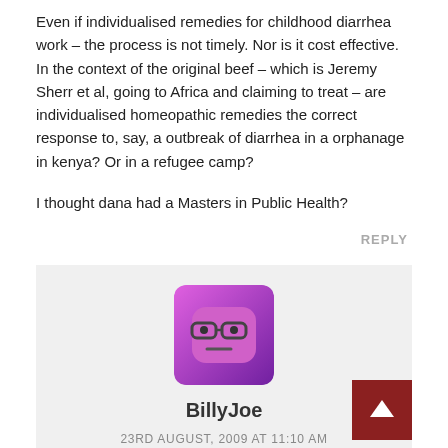Even if individualised remedies for childhood diarrhea work – the process is not timely. Nor is it cost effective. In the context of the original beef – which is Jeremy Sherr et al, going to Africa and claiming to treat – are individualised homeopathic remedies the correct response to, say, a outbreak of diarrhea in a orphanage in kenya? Or in a refugee camp?
I thought dana had a Masters in Public Health?
REPLY
[Figure (illustration): Avatar icon: a pink/purple rounded square with cartoon face wearing glasses and neutral expression]
BillyJoe
23RD AUGUST, 2009 AT 11:10 AM